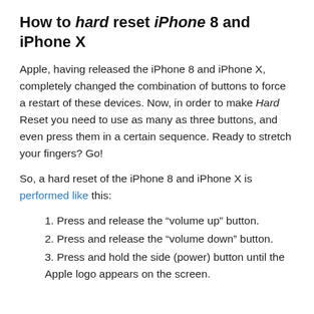How to hard reset iPhone 8 and iPhone X
Apple, having released the iPhone 8 and iPhone X, completely changed the combination of buttons to force a restart of these devices. Now, in order to make Hard Reset you need to use as many as three buttons, and even press them in a certain sequence. Ready to stretch your fingers? Go!
So, a hard reset of the iPhone 8 and iPhone X is performed like this:
1. Press and release the “volume up” button.
2. Press and release the “volume down” button.
3. Press and hold the side (power) button until the Apple logo appears on the screen.